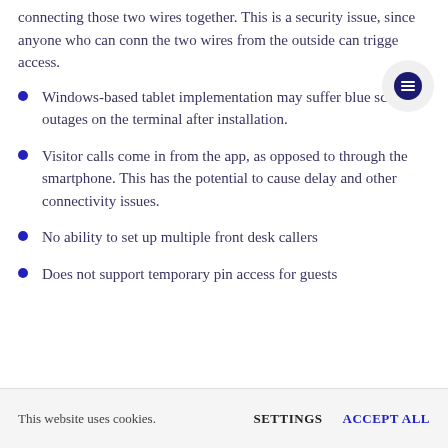connecting those two wires together. This is a security issue, since anyone who can connect the two wires from the outside can trigger access.
Windows-based tablet implementation may suffer blue screen outages on the terminal after installation.
Visitor calls come in from the app, as opposed to through the smartphone. This has the potential to cause delay and other connectivity issues.
No ability to set up multiple front desk callers
Does not support temporary pin access for guests
This website uses cookies.   SETTINGS   ACCEPT ALL